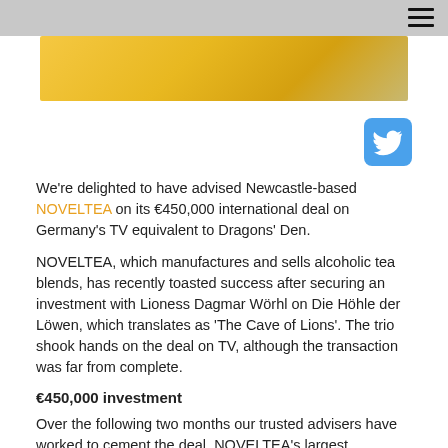[Figure (photo): Partial view of a yellow/golden colored image strip at the top of the page]
[Figure (logo): Twitter bird logo icon in a rounded blue square]
We're delighted to have advised Newcastle-based NOVELTEA on its €450,000 international deal on Germany's TV equivalent to Dragons' Den.
NOVELTEA, which manufactures and sells alcoholic tea blends, has recently toasted success after securing an investment with Lioness Dagmar Wörhl on Die Höhle der Löwen, which translates as 'The Cave of Lions'. The trio shook hands on the deal on TV, although the transaction was far from complete.
€450,000 investment
Over the following two months our trusted advisers have worked to cement the deal, NOVELTEA's largest investment to date, having acted for the business since its early stages, previously helping to deliver two rounds of crowdfunding and an innovative Chinese distribution deal